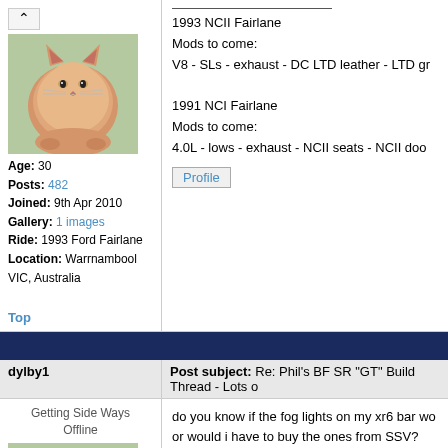[Figure (photo): Avatar photo of a fluffy orange cat appearing to float or hover above ground]
Age: 30
Posts: 482
Joined: 9th Apr 2010
Gallery: 1 images
Ride: 1993 Ford Fairlane
Location: Warrnambool VIC, Australia
Top
1993 NCII Fairlane
Mods to come:
V8 - SLs - exhaust - DC LTD leather - LTD gr
1991 NCI Fairlane
Mods to come:
4.0L - lows - exhaust - NCII seats - NCII doo
Profile
dylby1
Post subject: Re: Phil's BF SR "GT" Build Thread - Lots o
do you know if the fog lights on my xr6 bar wo or would i have to buy the ones from SSV?
[Figure (photo): Avatar photo of a fluffy orange cat appearing to float or hover above ground]
Getting Side Ways
Offline
Age: 30
Posts: 482
1993 NCII Fairlane
Mods to come:
V8 - SLs - exhaust - DC LTD leather - LTD gr
1991 NCI Fairlane